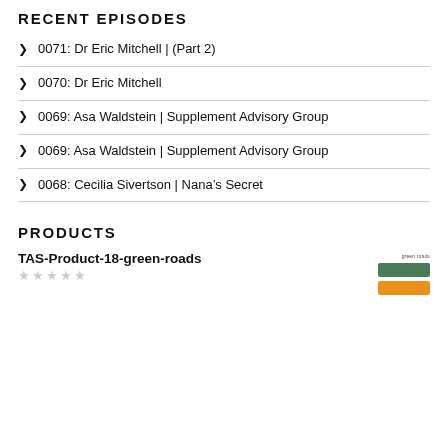RECENT EPISODES
0071: Dr Eric Mitchell | (Part 2)
0070: Dr Eric Mitchell
0069: Asa Waldstein | Supplement Advisory Group
0069: Asa Waldstein | Supplement Advisory Group
0068: Cecilia Sivertson | Nana's Secret
PRODUCTS
TAS-Product-18-green-roads
[Figure (illustration): Product image thumbnail for green roads product with colored bars (green and orange)]